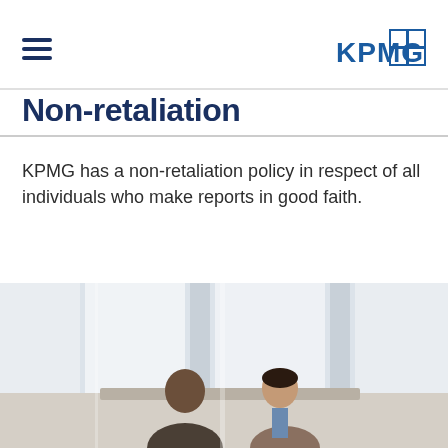KPMG navigation header with hamburger menu and KPMG logo
Non-retaliation
KPMG has a non-retaliation policy in respect of all individuals who make reports in good faith.
[Figure (photo): Two people in a bright office meeting room, appearing to have a conversation across a table, with large windows in the background.]